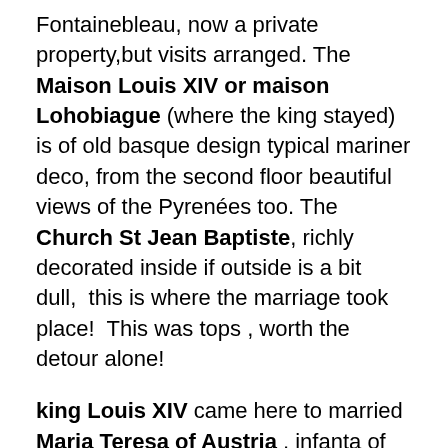Fontainebleau, now a private property,but visits arranged. The Maison Louis XIV or maison Lohobiague (where the king stayed) is of old basque design typical mariner deco, from the second floor beautiful views of the Pyrenées too. The Church St Jean Baptiste, richly decorated inside if outside is a bit dull,  this is where the marriage took place!  This was tops , worth the detour alone!
king Louis XIV came here to married Maria Teresa of Austria , infanta of Spain (daughter of the king of Spain, Felipe IV)on June 9 1660. The door of the church of St John the Baptist or Saint-Jean-Baptiste, from which the royal couple went out was closed 3 years after the wedding, even if the sign on the door tells of the closing immediately after the wedding according to French history school book. Her 6 children died early except one, but the